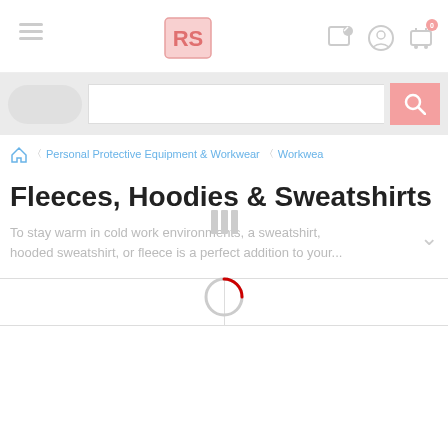[Figure (screenshot): RS Components e-commerce website header with hamburger menu, RS logo, location pin icon, user account icon, and cart icon (showing 0 items)]
[Figure (screenshot): Search bar with category pill button, search input field with placeholder dots, and pink search icon]
Personal Protective Equipment & Workwear > Workwea
Fleeces, Hoodies & Sweatshirts
To stay warm in cold work environments, a sweatshirt, hooded sweatshirt, or fleece is a perfect addition to your...
[Figure (screenshot): Filter and sort tabs with two buttons]
[Figure (other): Loading spinner circle with red partial arc indicating page is loading]